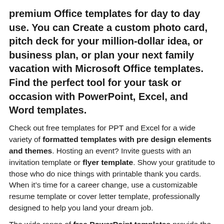premium Office templates for day to day use. You can Create a custom photo card, pitch deck for your million-dollar idea, or business plan, or plan your next family vacation with Microsoft Office templates. Find the perfect tool for your task or occasion with PowerPoint, Excel, and Word templates.
Check out free templates for PPT and Excel for a wide variety of formatted templates with pre design elements and themes. Hosting an event? Invite guests with an invitation template or flyer template. Show your gratitude to those who do nice things with printable thank you cards. When it’s time for a career change, use a customizable resume template or cover letter template, professionally designed to help you land your dream job.
The wide range of free PowerPoint templates provide the perfect starting point for all your infographic and data presentation needs, offering a multitude of themes, charts, and design choices. Use a presentation template for your next school project or add an infographic data chart to your pitch deck to polish and liven up your